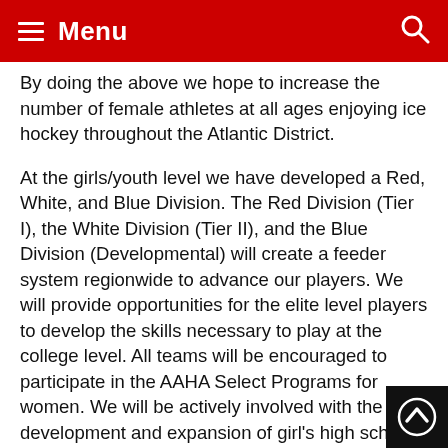Menu
By doing the above we hope to increase the number of female athletes at all ages enjoying ice hockey throughout the Atlantic District.
At the girls/youth level we have developed a Red, White, and Blue Division. The Red Division (Tier I), the White Division (Tier II), and the Blue Division (Developmental) will create a feeder system regionwide to advance our players. We will provide opportunities for the elite level players to develop the skills necessary to play at the college level. All teams will be encouraged to participate in the AAHA Select Programs for women. We will be actively involved with the development and expansion of girl's high school hockey, adult women's leagues, college hockey, and rink learn-to-skate programs for females.
MAWHA will meet the basic need to provide hockey